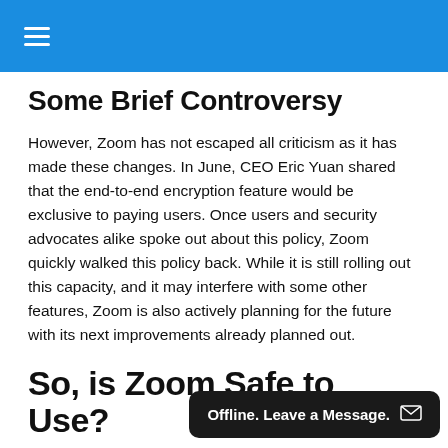≡
Some Brief Controversy
However, Zoom has not escaped all criticism as it has made these changes. In June, CEO Eric Yuan shared that the end-to-end encryption feature would be exclusive to paying users. Once users and security advocates alike spoke out about this policy, Zoom quickly walked this policy back. While it is still rolling out this capacity, and it may interfere with some other features, Zoom is also actively planning for the future with its next improvements already planned out.
So, is Zoom Safe to Use?
Compared to where it was? Absolutely. However, you may still want to take what you plan on communicating into account when deciding whether
Offline. Leave a Message. ✉